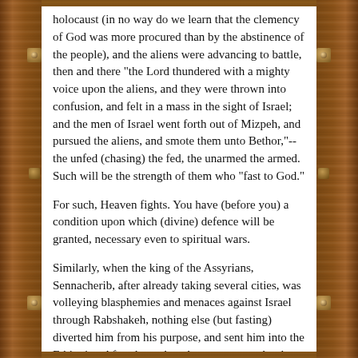holocaust (in no way do we learn that the clemency of God was more procured than by the abstinence of the people), and the aliens were advancing to battle, then and there "the Lord thundered with a mighty voice upon the aliens, and they were thrown into confusion, and felt in a mass in the sight of Israel; and the men of Israel went forth out of Mizpeh, and pursued the aliens, and smote them unto Bethor,"--the unfed (chasing) the fed, the unarmed the armed. Such will be the strength of them who "fast to God."
For such, Heaven fights. You have (before you) a condition upon which (divine) defence will be granted, necessary even to spiritual wars.
Similarly, when the king of the Assyrians, Sennacherib, after already taking several cities, was volleying blasphemies and menaces against Israel through Rabshakeh, nothing else (but fasting) diverted him from his purpose, and sent him into the Ethiopias. After that, what else swept away by the hand of the angel an hundred eighty and four thousand from his army than Hezekiah the king's humiliation? if it is true, (as it is), that on heating the announcement of the harshness of the foe, he rent his garment, put on sackcloth, and bade the elders of the